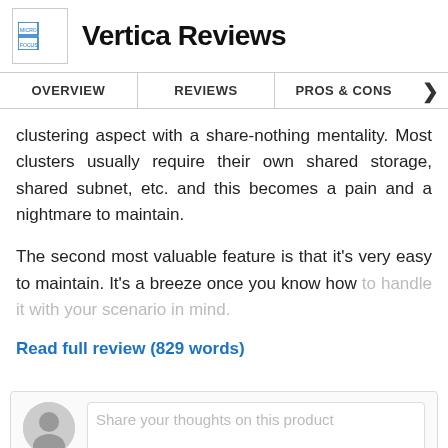Vertica Reviews
clustering aspect with a share-nothing mentality. Most clusters usually require their own shared storage, shared subnet, etc. and this becomes a pain and a nightmare to maintain.
The second most valuable feature is that it's very easy to maintain. It's a breeze once you know how to handle it with your scenario in mind.
Read full review (829 words)
Share your thoughts on this product